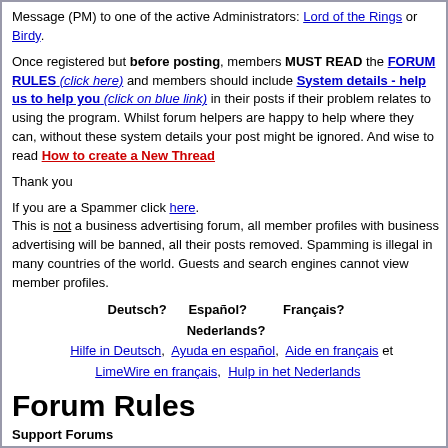Message (PM) to one of the active Administrators: Lord of the Rings or Birdy.
Once registered but before posting, members MUST READ the FORUM RULES (click here) and members should include System details - help us to help you (click on blue link) in their posts if their problem relates to using the program. Whilst forum helpers are happy to help where they can, without these system details your post might be ignored. And wise to read How to create a New Thread
Thank you
If you are a Spammer click here. This is not a business advertising forum, all member profiles with business advertising will be banned, all their posts removed. Spamming is illegal in many countries of the world. Guests and search engines cannot view member profiles.
Deutsch? Español? Français? Nederlands? Hilfe in Deutsch, Ayuda en español, Aide en français et LimeWire en français, Hulp in het Nederlands
Forum Rules
Support Forums
Before you post to one of the specific Client Help and